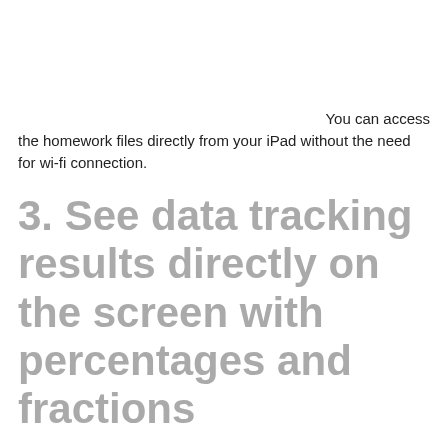You can access the homework files directly from your iPad without the need for wi-fi connection.
3. See data tracking results directly on the screen with percentages and fractions